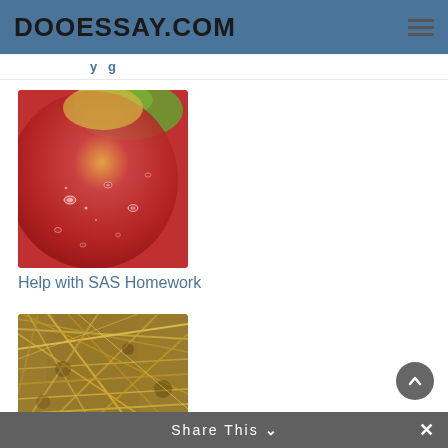DOOESSAY.COM
y g
[Figure (photo): Close-up photo of a red apple with water droplets]
Help with SAS Homework
[Figure (photo): Close-up photo of dry straw or hay]
Share This